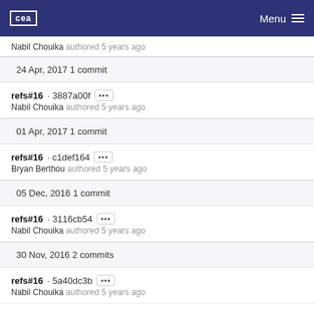cea Menu
Nabil Chouika authored 5 years ago
24 Apr, 2017 1 commit
refs#16 · 3887a00f
Nabil Chouika authored 5 years ago
01 Apr, 2017 1 commit
refs#16 · c1def164
Bryan Berthou authored 5 years ago
05 Dec, 2016 1 commit
refs#16 · 3116cb54
Nabil Chouika authored 5 years ago
30 Nov, 2016 2 commits
refs#16 · 5a40dc3b
Nabil Chouika authored 5 years ago